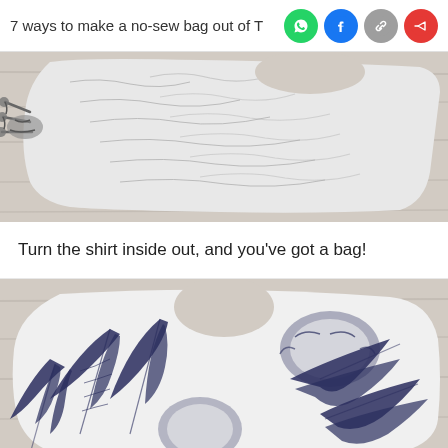7 ways to make a no-sew bag out of T
[Figure (photo): A white fabric with dark blue leaf/wave pattern shown inside-out, with knotted fringe ties visible on the left side, lying on a wooden surface. The fabric shows a circular hole at the top forming a bag handle.]
Turn the shirt inside out, and you've got a bag!
[Figure (photo): A finished no-sew bag made from a white fabric printed with dark navy tropical leaves (palm fronds and monstera leaves). The bag has a circular handle hole at the top center and angled/octagonal bottom corners, displayed on a wooden surface.]